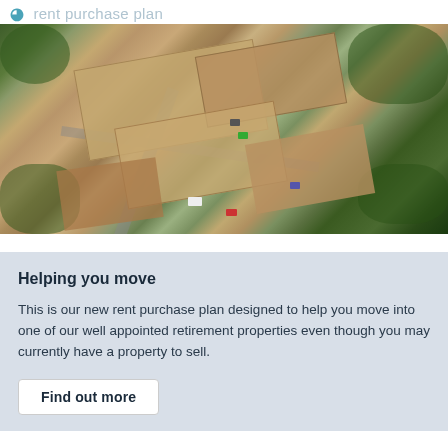[Figure (photo): Aerial photograph of a retirement housing complex showing brick buildings with pitched roofs, parking areas, surrounding green trees, and residential streets]
Helping you move
This is our new rent purchase plan designed to help you move into one of our well appointed retirement properties even though you may currently have a property to sell.
Find out more